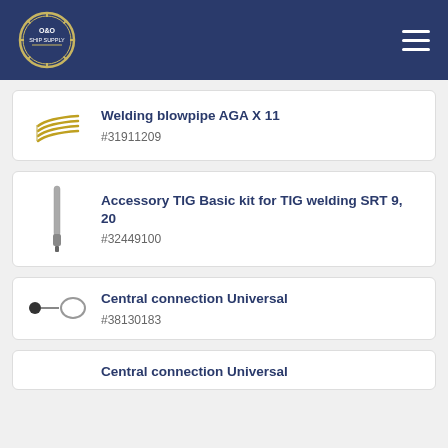O&O Ship Supply
Welding blowpipe AGA X 11 #31911209
Accessory TIG Basic kit for TIG welding SRT 9, 20 #32449100
Central connection Universal #38130183
Central connection Universal